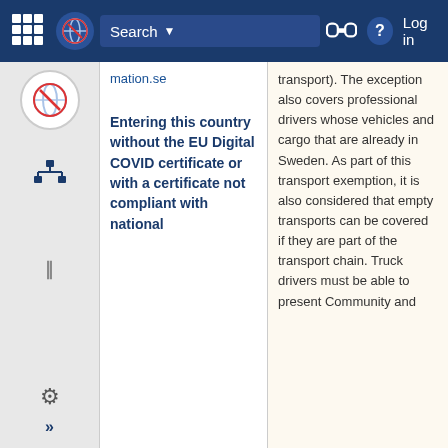Search | Log in
mation.se
Entering this country without the EU Digital COVID certificate or with a certificate not compliant with national
transport). The exception also covers professional drivers whose vehicles and cargo that are already in Sweden. As part of this transport exemption, it is also considered that empty transports can be covered if they are part of the transport chain. Truck drivers must be able to present Community and